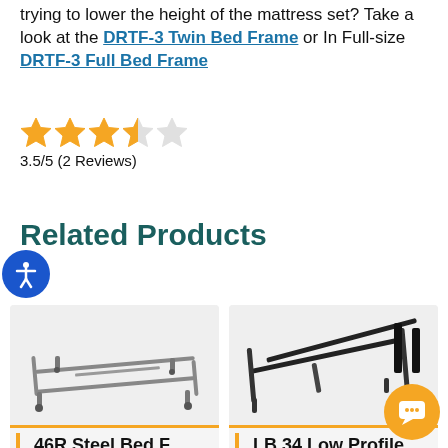trying to lower the height of the mattress set? Take a look at the DRTF-3 Twin Bed Frame or In Full-size DRTF-3 Full Bed Frame
3.5/5 (2 Reviews)
Related Products
[Figure (photo): Low-profile metal bed frame with legs and casters, top-down angle view]
[Figure (photo): Low-profile black metal bed frame, angled view showing rails and head/foot connections]
46R Steel Bed F...
LB 34 Low Profile B...